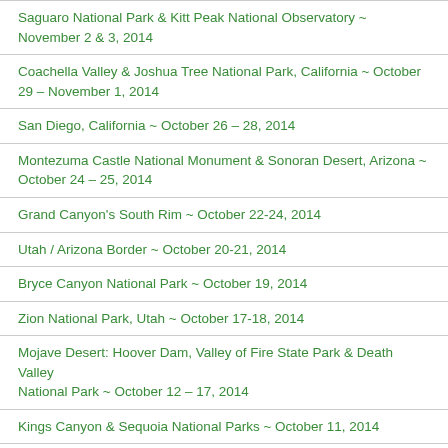Saguaro National Park & Kitt Peak National Observatory ~ November 2 & 3, 2014
Coachella Valley & Joshua Tree National Park, California ~ October 29 – November 1, 2014
San Diego, California ~ October 26 – 28, 2014
Montezuma Castle National Monument & Sonoran Desert, Arizona ~ October 24 – 25, 2014
Grand Canyon's South Rim ~ October 22-24, 2014
Utah / Arizona Border ~ October 20-21, 2014
Bryce Canyon National Park ~ October 19, 2014
Zion National Park, Utah ~ October 17-18, 2014
Mojave Desert: Hoover Dam, Valley of Fire State Park & Death Valley National Park ~ October 12 – 17, 2014
Kings Canyon & Sequoia National Parks ~ October 11, 2014